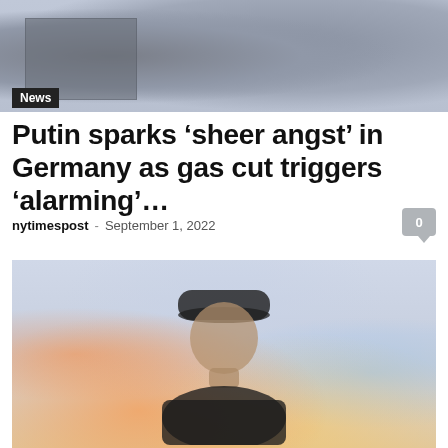[Figure (photo): Top photo showing two people in dark suits, partially visible, news website header image]
News
Putin sparks ‘sheer angst’ in Germany as gas cut triggers ‘alarming’…
nytimespost - September 1, 2022
[Figure (photo): Photo of a person wearing a black cap and black shirt, face visible, blurred colorful bokeh background with orange and blue lights]